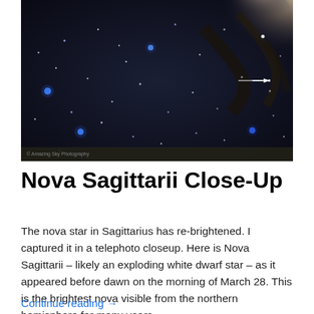[Figure (photo): Telephoto astrophotography image of Nova Sagittarii close-up showing a dark starfield with numerous blue and white stars against a dark sky background with the Milky Way nebulosity visible at upper right. A small white arrow in the center of the image points to the nova star. Watermark reads '© Amazing Sky Photography' at lower left.]
Nova Sagittarii Close-Up
The nova star in Sagittarius has re-brightened. I captured it in a telephoto closeup. Here is Nova Sagittarii – likely an exploding white dwarf star – as it appeared before dawn on the morning of March 28. This is the brightest nova visible from the northern hemisphere for many years, …
Continue reading →